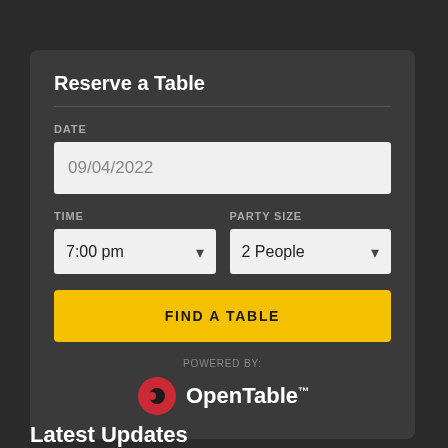Reserve a Table
DATE
09/04/2022
TIME
7:00 pm
PARTY SIZE
2 People
FIND A TABLE
POWERED BY:
[Figure (logo): OpenTable logo with red circle icon and white text]
Latest Updates